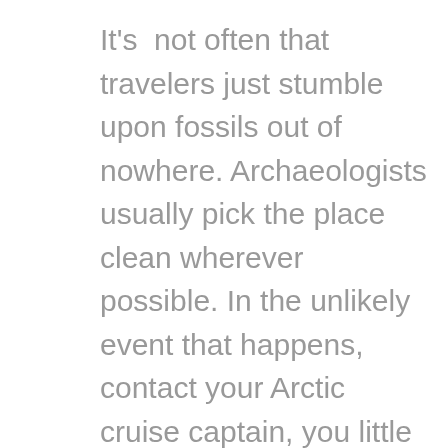It's not often that travelers just stumble upon fossils out of nowhere. Archaeologists usually pick the place clean wherever possible. In the unlikely event that happens, contact your Arctic cruise captain, you little “Indiana Jones”!